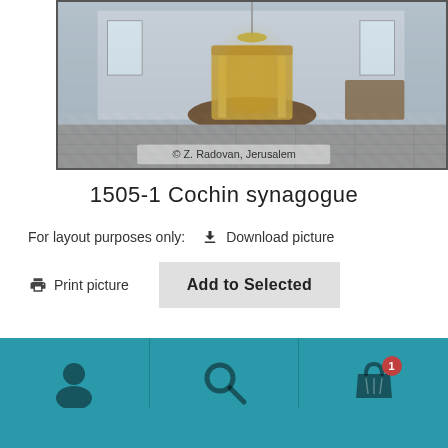[Figure (photo): Interior of Cochin synagogue showing ornate bimah with golden structure, tiled floor, and chandeliers. Copyright © Z. Radovan, Jerusalem]
1505-1 Cochin synagogue
For layout purposes only:   ⬇ Download picture
🖨 Print picture    Add to Selected
[Figure (photo): Partial thumbnail of another image at bottom]
Navigation bar with user, search, and cart icons